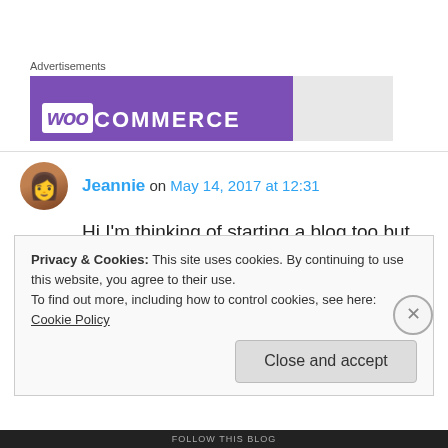Advertisements
[Figure (logo): WooCommerce advertisement banner with purple background and white logo text]
Jeannie on May 14, 2017 at 12:31
Hi I'm thinking of starting a blog too but bit dazzled by it!! Well done yours is great 👍
Privacy & Cookies: This site uses cookies. By continuing to use this website, you agree to their use.
To find out more, including how to control cookies, see here: Cookie Policy